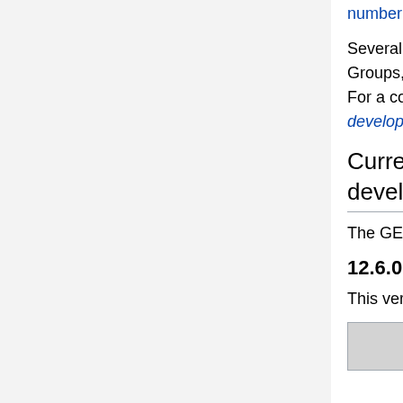numbering system wiki page.
Several GEOS-Chem updates have been proposed by the relevant Working Groups, but have not yet been assigned to a specific GEOS-Chem version. For a complete list of these updates, please visit our GEOS-Chem model development priorities wiki page.
Current version in development
The GEOS-Chem version listed below is currently under development.
12.6.0
This version will require 1-month and 1-year full-chemistry benchmarks.
| Feature | Submitted by | Type |
| --- | --- | --- |